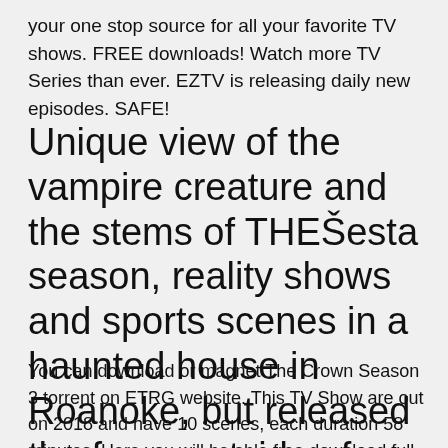your one stop source for all your favorite TV shows. FREE downloads! Watch more TV Series than ever. EZTV is releasing daily new episodes. SAFE!
Unique view of the vampire creature and the stems of THEŠesta season, reality shows and sports scenes in a haunted house in Roanoke, but released the force outside of their
You can download or magnet The Crown Season 3 torrent on ETRG website. This TV Show are out on 2018 and have 10 scenes, each duration 58 minutes. Here you will be able free download full episodes Code Black Season 3 torrent file or use